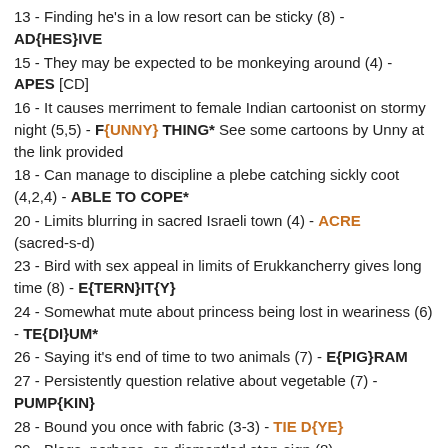13 - Finding he's in a low resort can be sticky (8) - AD{HES}IVE
15 - They may be expected to be monkeying around (4) - APES [CD]
16 - It causes merriment to female Indian cartoonist on stormy night (5,5) - F{UNNY} THING* See some cartoons by Unny at the link provided
18 - Can manage to discipline a plebe catching sickly coot (4,2,4) - ABLE TO COPE*
20 - Limits blurring in sacred Israeli town (4) - ACRE (sacred-s-d)
23 - Bird with sex appeal in limits of Erukkancherry gives long time (8) - E{TERN}IT{Y}
24 - Somewhat mute about princess being lost in weariness (6) - TE{DI}UM*
26 - Saying it's end of time to two animals (7) - E{PIG}RAM
27 - Persistently question relative about vegetable (7) - PUMP{KIN}
28 - Bound you once with fabric (3-3) - TIE D{YE}
29 - Blogs, perhaps, on dismantled stop-sign (8) - POSTINGS*
DOWN